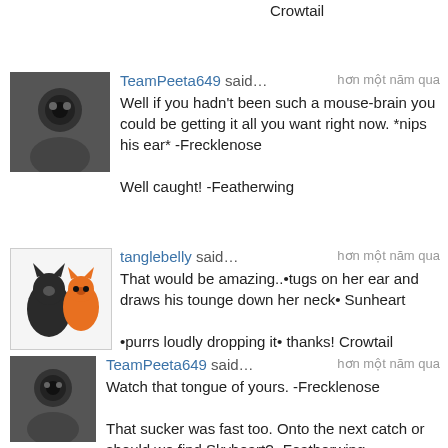Crowtail
[Figure (photo): Black and white avatar photo of a person or character]
TeamPeeta649 said… hơn một năm qua
Well if you hadn't been such a mouse-brain you could be getting it all you want right now. *nips his ear* -Frecklenose

Well caught! -Featherwing
[Figure (illustration): Cartoon avatar showing two Pokemon-style characters, a dark cat and an orange lizard]
tanglebelly said… hơn một năm qua
That would be amazing..•tugs on her ear and draws his tounge down her neck• Sunheart

•purrs loudly dropping it• thanks! Crowtail
[Figure (photo): Black and white avatar photo of a person or character]
TeamPeeta649 said… hơn một năm qua
Watch that tongue of yours. -Frecklenose

That sucker was fast too. Onto the next catch or should we find Skyheart? -Featherwing